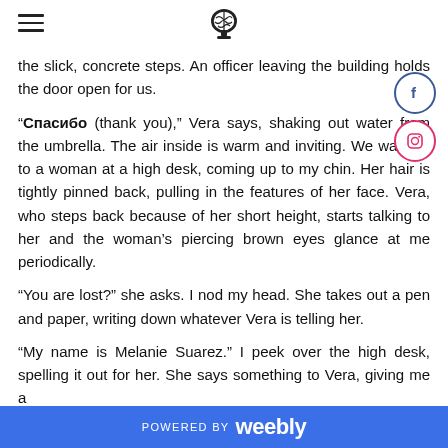[hamburger menu icon] [brain icon]
the slick, concrete steps. An officer leaving the building holds the door open for us.
“Спасибо (thank you),” Vera says, shaking out water from the umbrella. The air inside is warm and inviting. We walk up to a woman at a high desk, coming up to my chin. Her hair is tightly pinned back, pulling in the features of her face. Vera, who steps back because of her short height, starts talking to her and the woman’s piercing brown eyes glance at me periodically.
“You are lost?” she asks. I nod my head. She takes out a pen and paper, writing down whatever Vera is telling her.
“My name is Melanie Suarez.” I peek over the high desk, spelling it out for her. She says something to Vera, giving me a
POWERED BY weebly